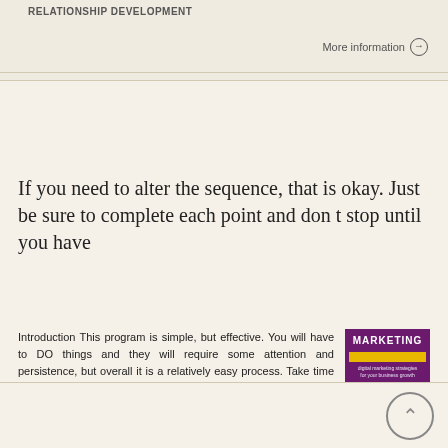RELATIONSHIP DEVELOPMENT
More information →
If you need to alter the sequence, that is okay. Just be sure to complete each point and don t stop until you have
Introduction This program is simple, but effective. You will have to DO things and they will require some attention and persistence, but overall it is a relatively easy process. Take time to read through
[Figure (illustration): Purple book cover with 'MARKETING' text in bold, yellow horizontal bar, small sunflower graphic at bottom]
More information →
Brought to you by:
http://privatemailingclub.com
http://adtroopers.com